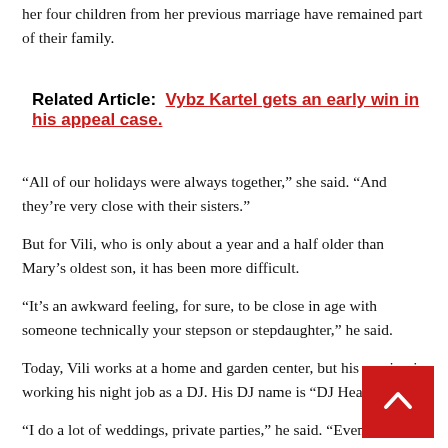her four children from her previous marriage have remained part of their family.
Related Article: Vybz Kartel gets an early win in his appeal case.
“All of our holidays were always together,” she said. “And they’re very close with their sisters.”
But for Vili, who is only about a year and a half older than Mary’s oldest son, it has been more difficult.
“It’s an awkward feeling, for sure, to be close in age with someone technically your stepson or stepdaughter,” he said.
Today, Vili works at a home and garden center, but his passion is working his night job as a DJ. His DJ name is “DJ Headline
“I do a lot of weddings, private parties,” he said. “Eventually, I